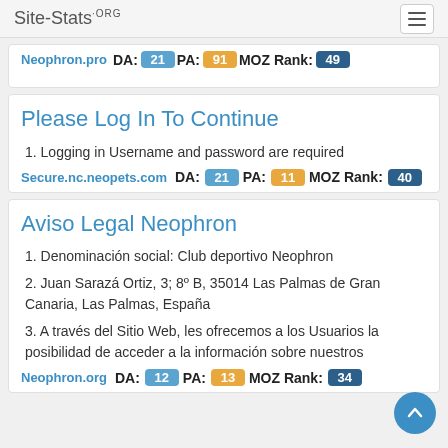Site-Stats.ORG
Neophron.pro  DA: 21  PA: 91  MOZ Rank: 49
Please Log In To Continue
Logging in Username and password are required
Secure.nc.neopets.com  DA: 21  PA: 11  MOZ Rank: 40
Aviso Legal Neophron
Denominación social: Club deportivo Neophron
Juan Sarazá Ortiz, 3; 8º B, 35014 Las Palmas de Gran Canaria, Las Palmas, España
A través del Sitio Web, les ofrecemos a los Usuarios la posibilidad de acceder a la información sobre nuestros
Neophron.org  DA: 12  PA: 13  MOZ Rank: 34